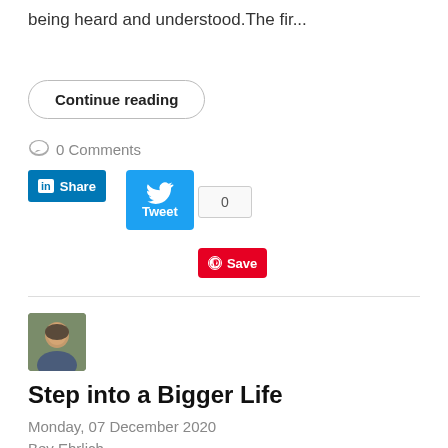being heard and understood.The fir…
Continue reading
0 Comments
[Figure (screenshot): Social sharing buttons: LinkedIn Share, Twitter Tweet with count 0, Pinterest Save]
[Figure (photo): Author avatar photo of Bev Ehrlich]
Step into a Bigger Life
Monday, 07 December 2020
Bev Ehrlich
"So often we live the life that other people want